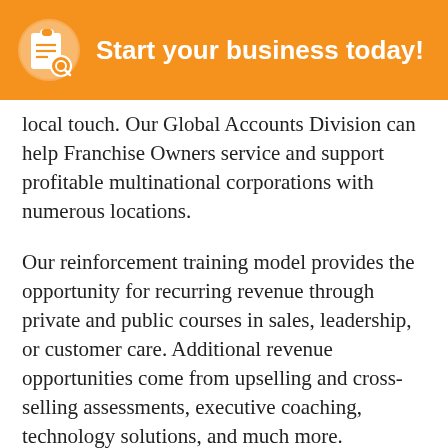Start your business today!
local touch. Our Global Accounts Division can help Franchise Owners service and support profitable multinational corporations with numerous locations.
Our reinforcement training model provides the opportunity for recurring revenue through private and public courses in sales, leadership, or customer care. Additional revenue opportunities come from upselling and cross-selling assessments, executive coaching, technology solutions, and much more.
World-Class Support